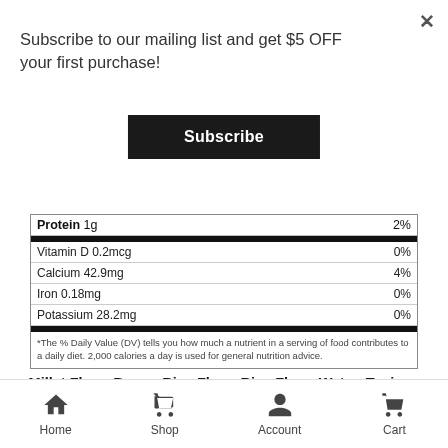Subscribe to our mailing list and get $5 OFF your first purchase!
Subscribe
| Nutrient | % DV |
| --- | --- |
| Protein 1g | 2% |
| Vitamin D 0.2mcg | 0% |
| Calcium 42.9mg | 4% |
| Iron 0.18mg | 0% |
| Potassium 28.2mg | 0% |
*The % Daily Value (DV) tells you how much a nutrient in a serving of food contributes to a daily diet. 2,000 calories a day is used for general nutrition advice.
Millet Flour, Brown Rice Flour, Rice Flour, Water, Tapioca Starch, Ground Flax Seeds, Sea Salt, Olive Oil /Sunflower Oil, Aluminum Free Baking Powder (Sodium Acid Pyrophosphate, Sodium Bicarbonate, Potato Starch, Monocalcium Phosphate),
Home  Shop  Account  Cart